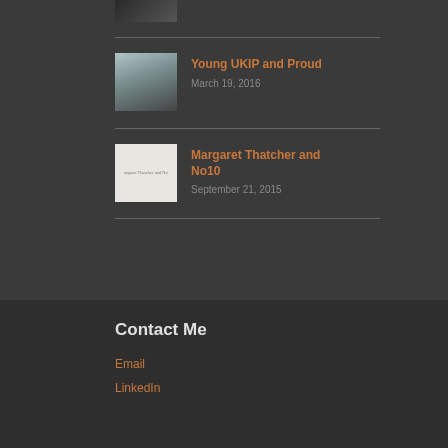[Figure (photo): Partial thumbnail image, dark tones, top of page]
[Figure (photo): Thumbnail of a person in a suit on a street scene]
Young UKIP and Proud
March 19, 2016
[Figure (photo): Thumbnail of a book cover showing Margaret Thatcher and No10]
Margaret Thatcher and No10
September 21, 2015
Contact Me
Email
LinkedIn